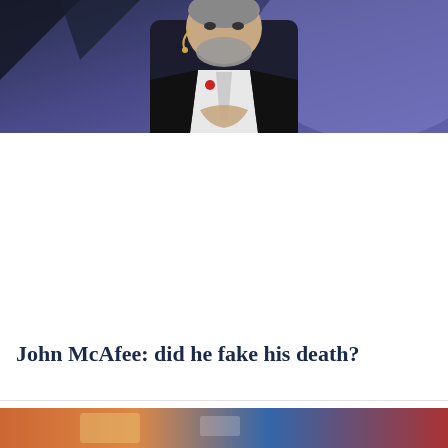[Figure (photo): A man with grey hair and beard wearing a black suit with a white tie and a red pin, speaking with a headset microphone in front of a purple/blue lit background with geometric shapes.]
John McAfee: did he fake his death?
[Figure (photo): Partial view of another image below, appears to show a colorful scene.]